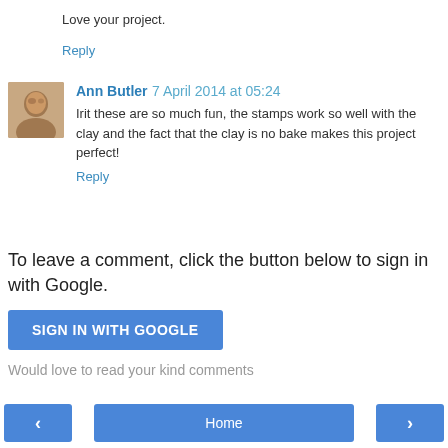Love your project.
Reply
Ann Butler 7 April 2014 at 05:24
Irit these are so much fun, the stamps work so well with the clay and the fact that the clay is no bake makes this project perfect!
Reply
To leave a comment, click the button below to sign in with Google.
SIGN IN WITH GOOGLE
Would love to read your kind comments
< Home >